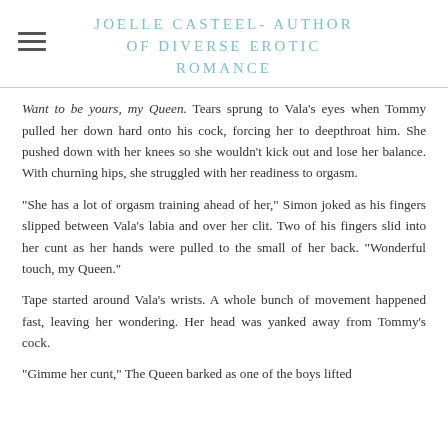JOELLE CASTEEL- AUTHOR OF DIVERSE EROTIC ROMANCE
Want to be yours, my Queen. Tears sprung to Vala's eyes when Tommy pulled her down hard onto his cock, forcing her to deepthroat him. She pushed down with her knees so she wouldn't kick out and lose her balance. With churning hips, she struggled with her readiness to orgasm.
"She has a lot of orgasm training ahead of her," Simon joked as his fingers slipped between Vala's labia and over her clit. Two of his fingers slid into her cunt as her hands were pulled to the small of her back. "Wonderful touch, my Queen."
Tape started around Vala's wrists. A whole bunch of movement happened fast, leaving her wondering. Her head was yanked away from Tommy's cock.
"Gimme her cunt," The Queen barked as one of the boys lifted